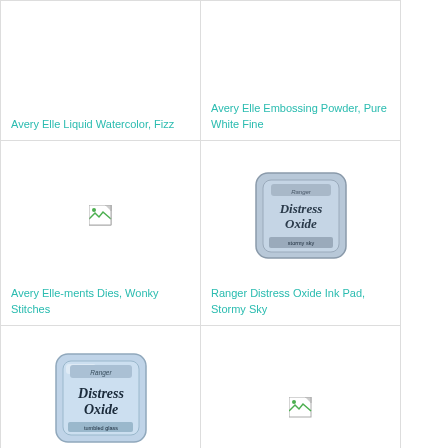Avery Elle Liquid Watercolor, Fizz
Avery Elle Embossing Powder, Pure White Fine
[Figure (photo): Broken image placeholder icon]
Avery Elle-ments Dies, Wonky Stitches
[Figure (photo): Ranger Distress Oxide Ink Pad, Stormy Sky - product photo showing blue-grey ink pad tin]
Ranger Distress Oxide Ink Pad, Stormy Sky
[Figure (photo): Ranger Distress Oxide Ink Pad, Tumbled Glass - product photo showing blue ink pad tin]
Ranger Distress Oxide Ink Pad, Tumbled Glass
[Figure (photo): Broken image placeholder icon]
Lawn Fawn Ink Pad, Deep Sea
[Figure (photo): Broken image placeholder icon]